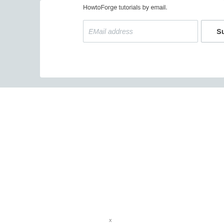HowtoForge tutorials by email.
[Figure (screenshot): Email subscription form with an email address input field and a Subscribe button]